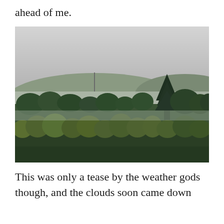ahead of me.
[Figure (photo): Misty forested hillside landscape with low clouds/fog drifting through dense trees and a hill with a communications tower visible in the background through the mist.]
This was only a tease by the weather gods though, and the clouds soon came down